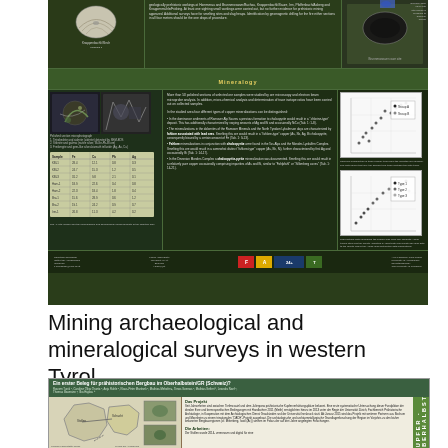[Figure (other): Scientific conference poster on dark green background about mining archaeological and mineralogical surveys. Contains shell fossil image, microscopy photos, scatter plots, data tables, and site photographs with text about copper mineralizations in Tyrol region.]
Mining archaeological and mineralogical surveys in western Tyrol
[Figure (other): Scientific poster titled 'Ein erster Beleg für prähistorischen Bergbau im Oberhalbstein/GR (Schweiz)?' with authors Rouven Turck, Caroline Oliva Orueta, Anja Ruhle, Klaus-Peter Martinek, Mathias Mehofer, Timos Somnas, Mathias Seifert, Leandra Naef, Thomas Baumann, Ilka Hajdas. Shows map/diagram of cave area on left, text about 'Das Projekt' and 'Die Arbeiten' on right with green copper/Kupfer sidebar.]